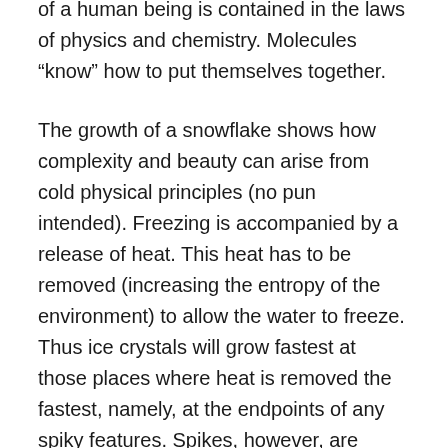of a human being is contained in the laws of physics and chemistry. Molecules “know” how to put themselves together.
The growth of a snowflake shows how complexity and beauty can arise from cold physical principles (no pun intended). Freezing is accompanied by a release of heat. This heat has to be removed (increasing the entropy of the environment) to allow the water to freeze. Thus ice crystals will grow fastest at those places where heat is removed the fastest, namely, at the endpoints of any spiky features. Spikes, however, are already the result of rapid growth. This creates positive feedback: The locations on a crystal that grow the fastest become spiky, which allows better heat transfer from these locations, which makes them grow faster, and so on. The result is what physicists call an instability, leading to the formation of long, spiky